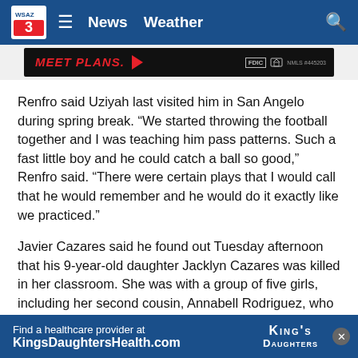WSAZ 3 News | News  Weather
[Figure (screenshot): Top advertisement banner showing 'MEET PLANS.' in red text with red chevron, FDIC equal housing logo, NMLS #445203 on dark background]
Renfro said Uziyah last visited him in San Angelo during spring break. “We started throwing the football together and I was teaching him pass patterns. Such a fast little boy and he could catch a ball so good,” Renfro said. “There were certain plays that I would call that he would remember and he would do it exactly like we practiced.”
Javier Cazares said he found out Tuesday afternoon that his 9-year-old daughter Jacklyn Cazares was killed in her classroom. She was with a group of five girls, including her second cousin, Annabell Rodriguez, who formed a tight group of friends.
“They a…
Th…
[Figure (screenshot): King's Daughters Health advertisement banner: 'Find a healthcare provider at KingsDaughtersHealth.com' with King's Daughters logo on blue background, close button]